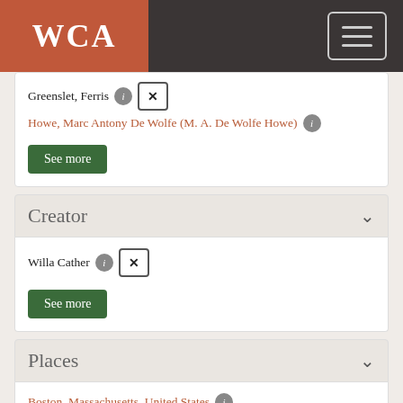WCA
Greenslet, Ferris [i] [x]
Howe, Marc Antony De Wolfe (M. A. De Wolfe Howe) [i]
See more
Creator
Willa Cather [i] [x]
See more
Places
Boston, Massachusetts, United States [i]
New York, New York, United States [i] [x]
Red Cloud, Nebraska, United States [i]